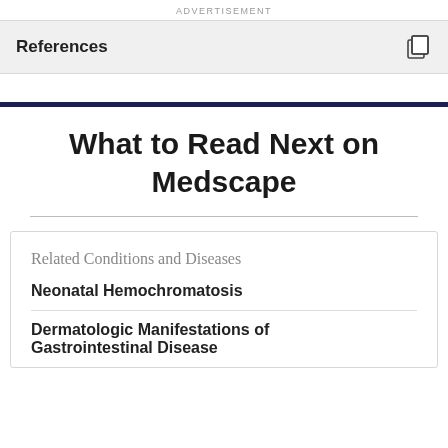ADVERTISEMENT
References
What to Read Next on Medscape
Related Conditions and Diseases
Neonatal Hemochromatosis
Dermatologic Manifestations of Gastrointestinal Disease